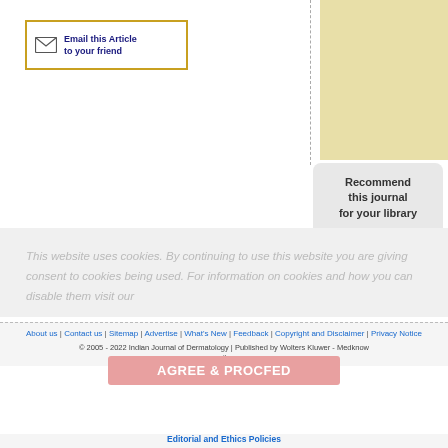[Figure (infographic): Email this Article to your friend button with envelope icon, bordered in orange/gold]
[Figure (infographic): Recommend this journal for your library box with green checkmark circle]
This website uses cookies. By continuing to use this website you are giving consent to cookies being used. For information on cookies and how you can disable them visit our
About us | Contact us | Sitemap | Advertise | What's New | Feedback | Copyright and Disclaimer | Privacy Notice
© 2005 - 2022 Indian Journal of Dermatology | Published by Wolters Kluwer - Medknow
Online since 25th November '05
Editorial and Ethics Policies